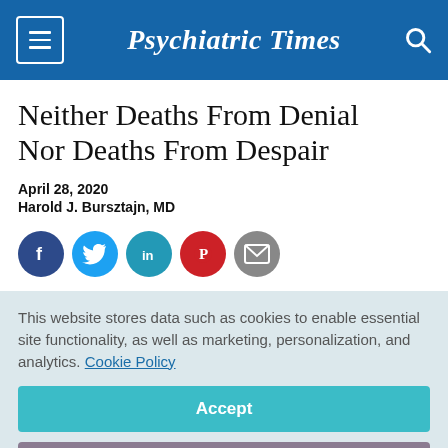Psychiatric Times
Neither Deaths From Denial Nor Deaths From Despair
April 28, 2020
Harold J. Bursztajn, MD
[Figure (infographic): Social sharing icons row: Facebook, Twitter, LinkedIn, Pinterest, Email]
This website stores data such as cookies to enable essential site functionality, as well as marketing, personalization, and analytics. Cookie Policy
Accept
Deny